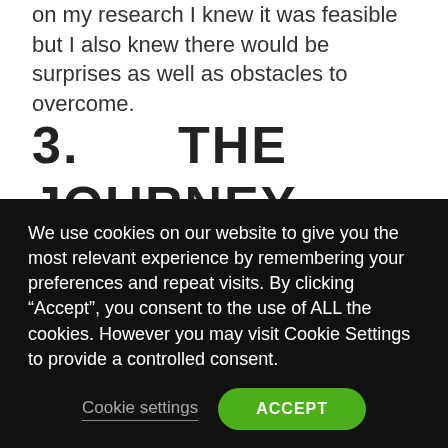on my research I knew it was feasible but I also knew there would be surprises as well as obstacles to overcome.
3.      THE JOURNEY
The team was filled with senior resources with good experience. But not only were they inexperienced with Agile, they were also new to Agile tools and techniques. None of them had ever used a continuous integration server. Other concepts like relentless refactoring, test driven development, pair
We use cookies on our website to give you the most relevant experience by remembering your preferences and repeat visits. By clicking “Accept”, you consent to the use of ALL the cookies. However you may visit Cookie Settings to provide a controlled consent.
Cookie settings
ACCEPT